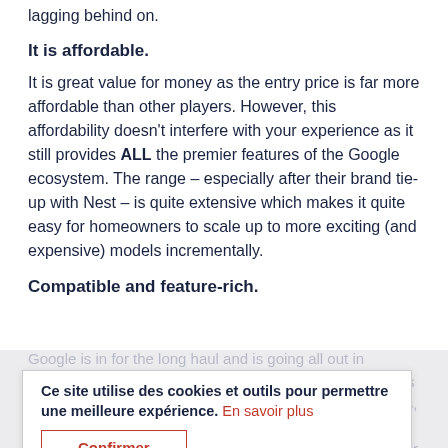questions – something other voice-controlled hubs are lagging behind on.
It is affordable.
It is great value for money as the entry price is far more affordable than other players. However, this affordability doesn't interfere with your experience as it still provides ALL the premier features of the Google ecosystem. The range – especially after their brand tie-up with Nest – is quite extensive which makes it quite easy for homeowners to scale up to more exciting (and expensive) models incrementally.
Compatible and feature-rich.
Google is in for the long haul and is going all out in investing and creating its ecosystem. The Google Home is compatible with tens of thousands of devices, applications, and online services, and comes with a complete list of features controlled through the Google Home App. Another useful feature is that as a wifi-enabled speaker it can stream music directly from the cloud.
Ce site utilise des cookies et outils pour permettre une meilleure expérience. En savoir plus
Confirmer